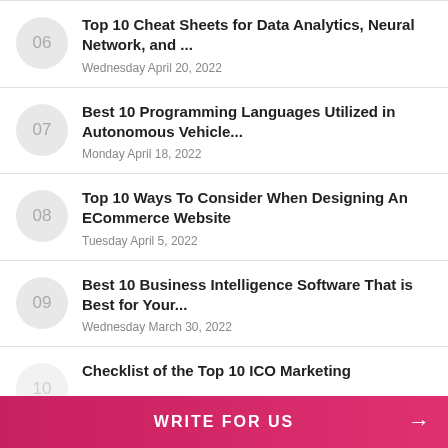06 Top 10 Cheat Sheets for Data Analytics, Neural Network, and ... Wednesday April 20, 2022
07 Best 10 Programming Languages Utilized in Autonomous Vehicle... Monday April 18, 2022
08 Top 10 Ways To Consider When Designing An ECommerce Website Tuesday April 5, 2022
09 Best 10 Business Intelligence Software That is Best for Your... Wednesday March 30, 2022
10 Checklist of the Top 10 ICO Marketing ...
WRITE FOR US →